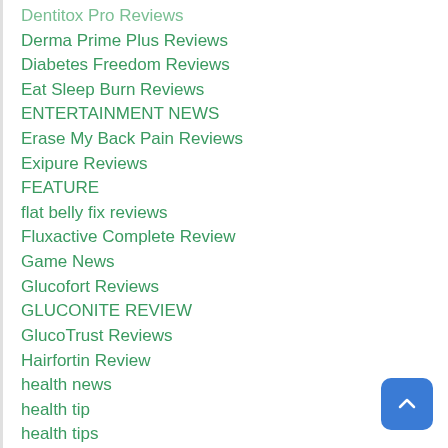Dentitox Pro Reviews
Derma Prime Plus Reviews
Diabetes Freedom Reviews
Eat Sleep Burn Reviews
ENTERTAINMENT NEWS
Erase My Back Pain Reviews
Exipure Reviews
FEATURE
flat belly fix reviews
Fluxactive Complete Review
Game News
Glucofort Reviews
GLUCONITE REVIEW
GlucoTrust Reviews
Hairfortin Review
health news
health tip
health tips
His Secret Obsession Reviews
Home Doctor
IKIGAI Weight Loss Reviews
Immunity Booster
Isogenics Tonic Reviews